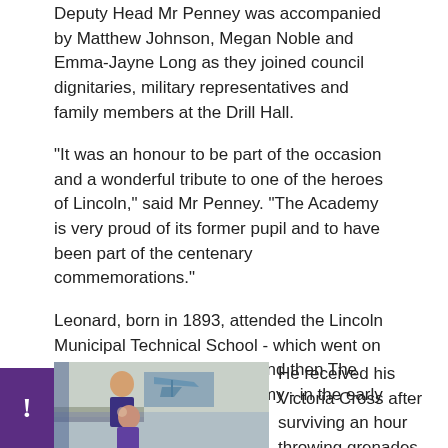Deputy Head Mr Penney was accompanied by Matthew Johnson, Megan Noble and Emma-Jayne Long as they joined council dignitaries, military representatives and family members at the Drill Hall.
"It was an honour to be part of the occasion and a wonderful tribute to one of the heroes of Lincoln," said Mr Penney. "The Academy is very proud of its former pupil and to have been part of the centenary commemorations."
Leonard, born in 1893, attended the Lincoln Municipal Technical School - which went on to become the City School and then The Priory City of Lincoln Academy - in the early 1900s.
[Figure (photo): Two older women standing indoors, with what appears to be an aircraft model or display in the background.]
He received his Victoria Cross after surviving an hour throwing grenades into a German dug-out from an exposed and